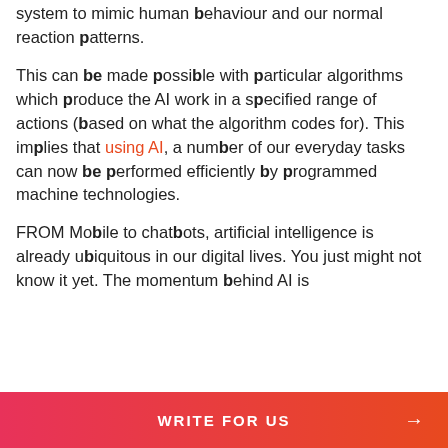system to mimic human behaviour and our normal reaction patterns.
This can be made possible with particular algorithms which produce the AI work in a specified range of actions (based on what the algorithm codes for). This implies that using AI, a number of our everyday tasks can now be performed efficiently by programmed machine technologies.
FROM Mobile to chatbots, artificial intelligence is already ubiquitous in our digital lives. You just might not know it yet. The momentum behind AI is
WRITE FOR US